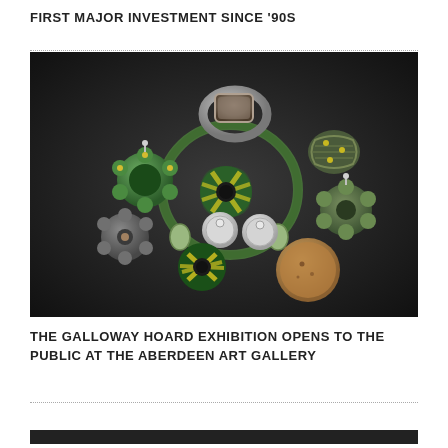FIRST MAJOR INVESTMENT SINCE '90S
[Figure (photo): Photograph of ancient Viking/early medieval artefacts from the Galloway Hoard on a dark background. Items include colourful glass beads with green and yellow patterns, a silver penannular brooch, a silver finger ring set with a large gemstone, a textile-wrapped bead, and a large amber or clay disc-shaped bead.]
THE GALLOWAY HOARD EXHIBITION OPENS TO THE PUBLIC AT THE ABERDEEN ART GALLERY